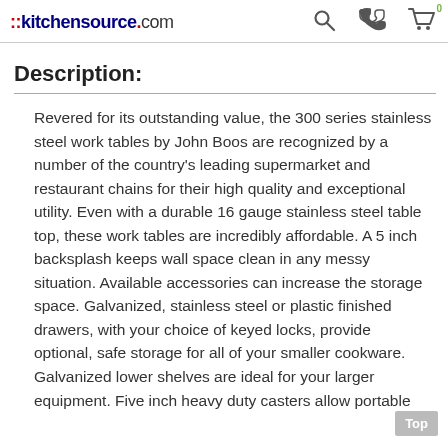::kitchensource.com
Description:
Revered for its outstanding value, the 300 series stainless steel work tables by John Boos are recognized by a number of the country's leading supermarket and restaurant chains for their high quality and exceptional utility. Even with a durable 16 gauge stainless steel table top, these work tables are incredibly affordable. A 5 inch backsplash keeps wall space clean in any messy situation. Available accessories can increase the storage space. Galvanized, stainless steel or plastic finished drawers, with your choice of keyed locks, provide optional, safe storage for all of your smaller cookware. Galvanized lower shelves are ideal for your larger equipment. Five inch heavy duty casters allow portable storage and movement. With theountable b d f centi